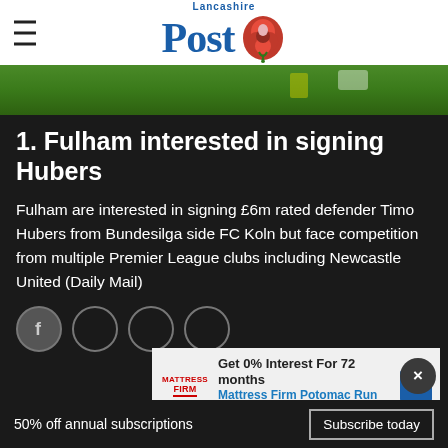Lancashire Post
[Figure (photo): Green football pitch with players, partial view]
1. Fulham interested in signing Hubers
Fulham are interested in signing £6m rated defender Timo Hubers from Bundesilga side FC Koln but face competition from multiple Premier League clubs including Newcastle United (Daily Mail)
[Figure (infographic): Advertisement banner: Get 0% Interest For 72 months - Mattress Firm Potomac Run Plaza]
50% off annual subscriptions
Subscribe today